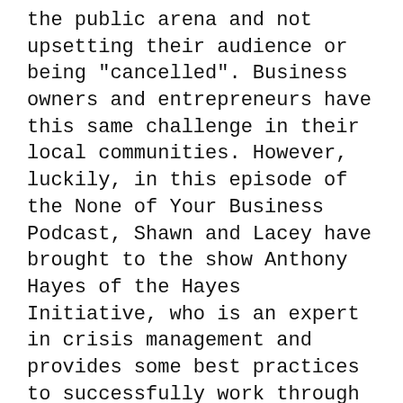the public arena and not upsetting their audience or being "cancelled". Business owners and entrepreneurs have this same challenge in their local communities. However, luckily, in this episode of the None of Your Business Podcast, Shawn and Lacey have brought to the show Anthony Hayes of the Hayes Initiative, who is an expert in crisis management and provides some best practices to successfully work through these challenges.
Main Points:
6:00 - Reasons why failing fast can accelerate growth
11:45 - How Anthony sees and advises